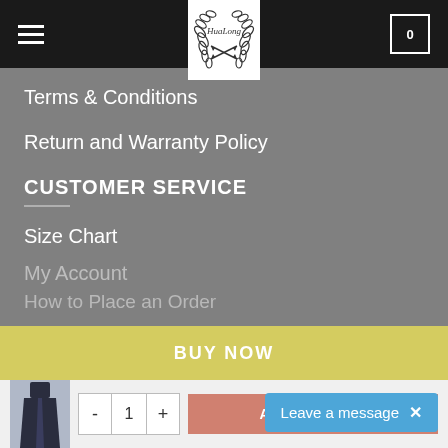[Figure (screenshot): HuaLong brand logo in circular laurel wreath design with crossed arrows]
Terms & Conditions
Return and Warranty Policy
CUSTOMER SERVICE
Size Chart
My Account
How to Place an Order
[Figure (photo): Small product thumbnail showing a dark navy dress/skirt]
- 1 + ADD TO CART
BUY NOW
NEW USER GUIDE
Leave a message